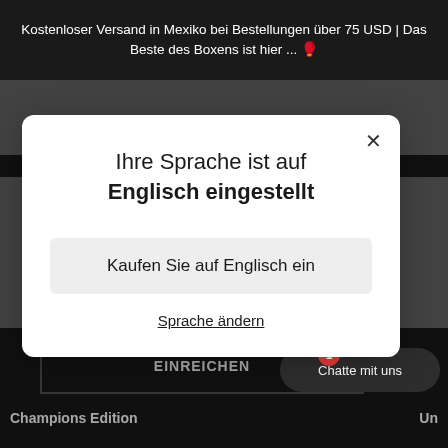Kostenloser Versand in Mexiko bei Bestellungen über 75 USD | Das Beste des Boxens ist hier ... 🥊
[Figure (screenshot): Background product image showing a boxing item with teal/green background and WBC branding]
Ihre Sprache ist auf Englisch eingestellt
Kaufen Sie auf Englisch ein
Sprache ändern
EINREICHEN
Chatte mit uns
Champions Edition
Un